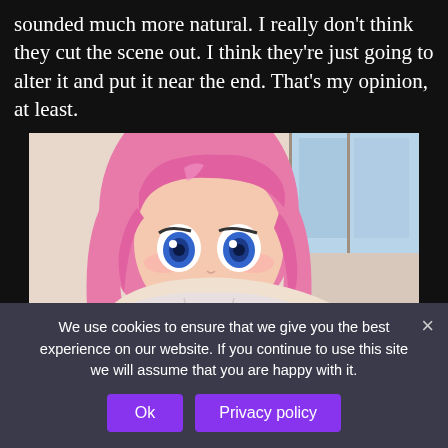sounded much more natural. I really don't think they cut the scene out. I think they're just going to alter it and put it near the end. That's my opinion, at least.
[Figure (illustration): Anime-style illustration of a pink-haired girl with blue eyes, resting her face on her hands, wearing a white jacket]
(Have your weekly Shikimori)
We use cookies to ensure that we give you the best experience on our website. If you continue to use this site we will assume that you are happy with it.